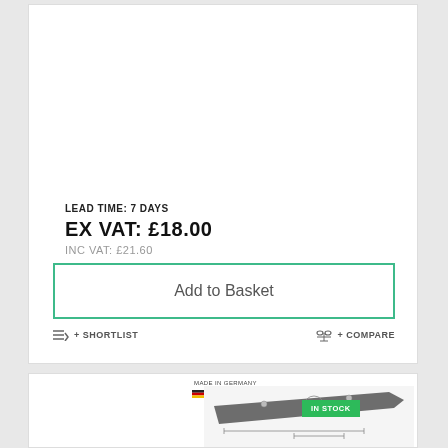LEAD TIME: 7 DAYS
EX VAT: £18.00
INC VAT: £21.60
Add to Basket
+ SHORTLIST
+ COMPARE
[Figure (photo): Product image showing a blade/cutting tool made in Germany with an IN STOCK badge, shown against a technical drawing background. Made in Germany label with German flag colors visible.]